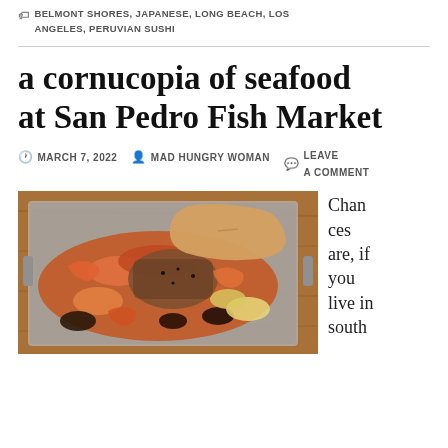BELMONT SHORES, JAPANESE, LONG BEACH, LOS ANGELES, PERUVIAN SUSHI
a cornucopia of seafood at San Pedro Fish Market
MARCH 7, 2022  MAD HUNGRY WOMAN  LEAVE A COMMENT
[Figure (photo): A metal tray loaded with mixed seafood — shrimp, crab, mussels, and other shellfish with a fish fillet and a hot dog bun, placed on a wooden table.]
Chances are, if you live in south